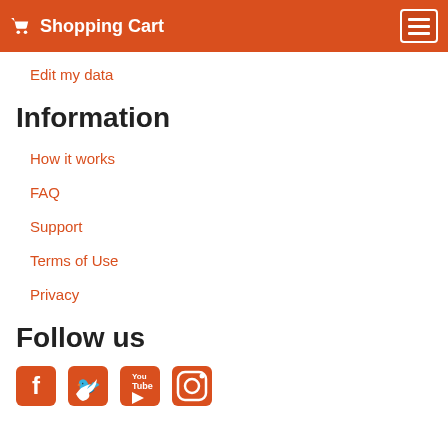Shopping Cart
Edit my data
Information
How it works
FAQ
Support
Terms of Use
Privacy
Follow us
[Figure (infographic): Social media icons: Facebook, Twitter, YouTube, Instagram in orange]